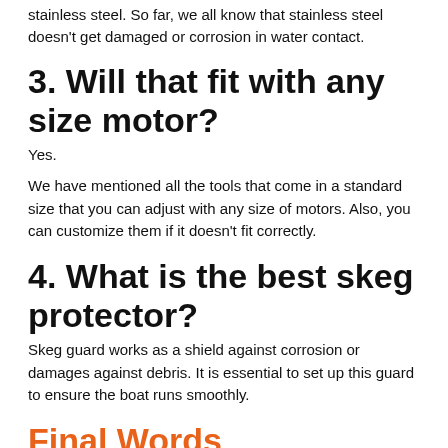stainless steel. So far, we all know that stainless steel doesn't get damaged or corrosion in water contact.
3. Will that fit with any size motor?
Yes.
We have mentioned all the tools that come in a standard size that you can adjust with any size of motors. Also, you can customize them if it doesn't fit correctly.
4. What is the best skeg protector?
Skeg guard works as a shield against corrosion or damages against debris. It is essential to set up this guard to ensure the boat runs smoothly.
Final Words
Now you probably realize how to take legitimate